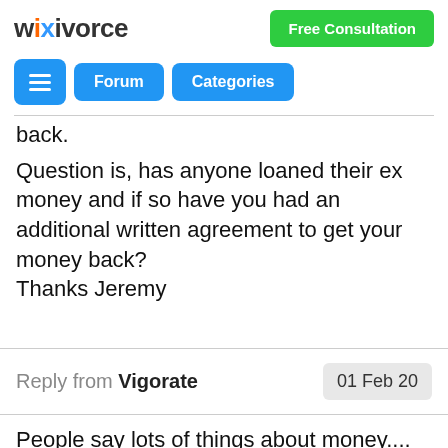wikivorce | Free Consultation
back.
Question is, has anyone loaned their ex money and if so have you had an additional written agreement to get your money back?
Thanks Jeremy
Reply from Vigorate  01 Feb 20
People say lots of things about money.... don't do it in my opinion, sort out the finances as part of the divorce financial settlement. Use divorce